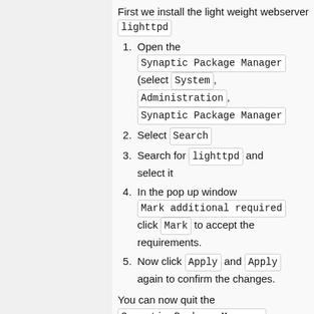First we install the light weight webserver lighttpd
1. Open the Synaptic Package Manager (select System, Administration, Synaptic Package Manager
2. Select Search
3. Search for lighttpd and select it
4. In the pop up window Mark additional required click Mark to accept the requirements.
5. Now click Apply and Apply again to confirm the changes.
You can now quit the Synaptic Package Manager.